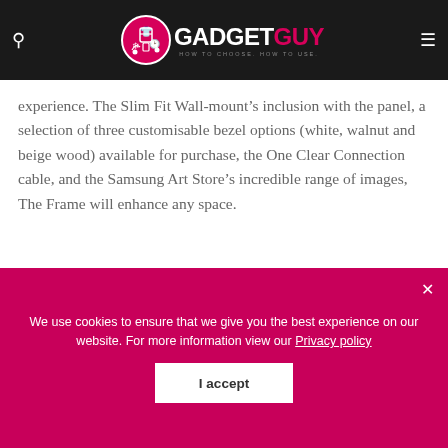GADGETGUY — HOW TO CHOOSE. HOW TO USE.
experience. The Slim Fit Wall-mount's inclusion with the panel, a selection of three customisable bezel options (white, walnut and beige wood) available for purchase, the One Clear Connection cable, and the Samsung Art Store's incredible range of images, The Frame will enhance any space.
We use cookies to ensure that we give you the best experience on our website. For more information view our Privacy policy
I accept